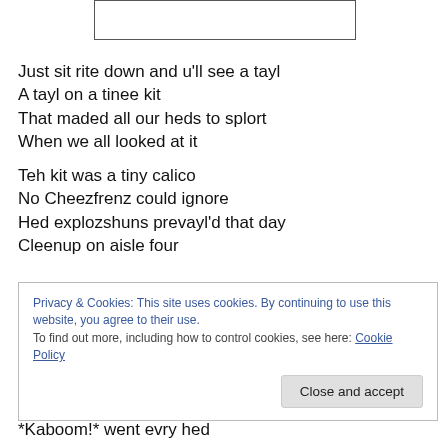[Figure (other): Empty bordered rectangle at top of page]
Just sit rite down and u'll see a tayl
A tayl on a tinee kit
That maded all our heds to splort
When we all looked at it
Teh kit was a tiny calico
No Cheezfrenz could ignore
Hed explozshuns prevayl'd that day
Cleenup on aisle four
Privacy & Cookies: This site uses cookies. By continuing to use this website, you agree to their use.
To find out more, including how to control cookies, see here: Cookie Policy
Close and accept
*Kaboom!* went evry hed